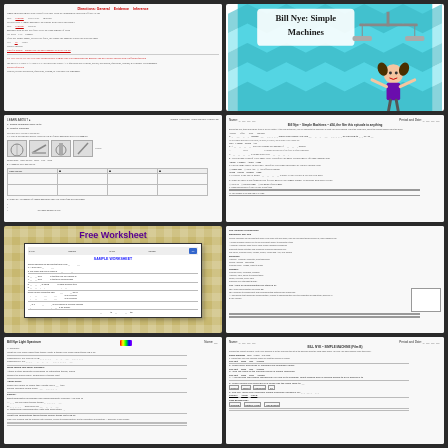[Figure (screenshot): Bill Nye Simple Machines worksheet preview - handwritten/filled worksheet]
[Figure (illustration): Bill Nye: Simple Machines cover page with chevron teal background, cartoon scientist girl and balance scale illustration]
[Figure (screenshot): Simple Machines worksheet with images of simple machines and table]
[Figure (screenshot): Bill Nye Simple Machines worksheet with fill-in-the-blank questions]
[Figure (screenshot): Free Worksheet promotional image on graph paper background]
[Figure (screenshot): Bill Nye Simple Machines detailed worksheet with text and diagram box]
[Figure (screenshot): Bill Nye Light Spectrum worksheet]
[Figure (screenshot): Bill Nye Simple Machines worksheet - another version]